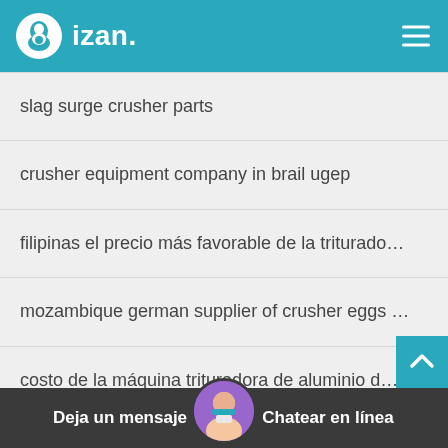[Figure (logo): izan. logo with teal header background, hamburger menu icon on right]
slag surge crusher parts
crusher equipment company in brail ugep
filipinas el precio más favorable de la triturado…
mozambique german supplier of crusher eggs …
costo de la máquina trituradora de aluminio d…
crusher plant bihar entertainment center
demands of stone crusher in africa
Deja un mensaje    Chatear en línea